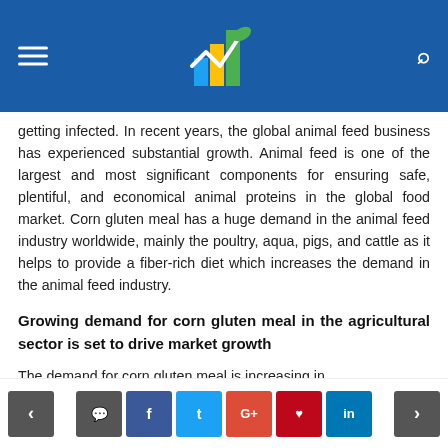[Header bar with logo, hamburger menu, and search icon]
getting infected. In recent years, the global animal feed business has experienced substantial growth. Animal feed is one of the largest and most significant components for ensuring safe, plentiful, and economical animal proteins in the global food market. Corn gluten meal has a huge demand in the animal feed industry worldwide, mainly the poultry, aqua, pigs, and cattle as it helps to provide a fiber-rich diet which increases the demand in the animal feed industry.
Growing demand for corn gluten meal in the agricultural sector is set to drive market growth
The demand for corn gluten meal is increasing in
< [comment] f t G+ pinterest in >